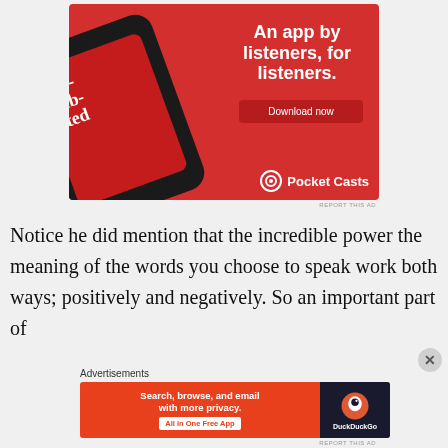[Figure (illustration): Pocket Casts app advertisement on red background showing a smartphone with 'Distributed' podcast playing, with tagline 'An app by listeners, for listeners.' and a 'Download now' button, Pocket Casts logo at bottom right]
REPORT THIS AD
Notice he did mention that the incredible power the meaning of the words you choose to speak work both ways; positively and negatively. So an important part of
Advertisements
[Figure (illustration): DuckDuckGo advertisement: 'Search, browse, and email with more privacy. All in One Free App' on orange background with DuckDuckGo logo on dark background]
REPORT THIS AD